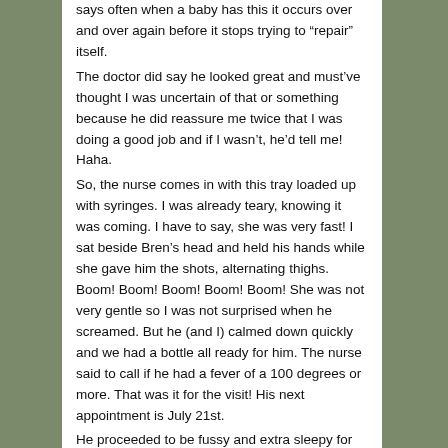says often when a baby has this it occurs over and over again before it stops trying to “repair” itself.
The doctor did say he looked great and must’ve thought I was uncertain of that or something because he did reassure me twice that I was doing a good job and if I wasn’t, he’d tell me! Haha.
So, the nurse comes in with this tray loaded up with syringes. I was already teary, knowing it was coming. I have to say, she was very fast! I sat beside Bren’s head and held his hands while she gave him the shots, alternating thighs. Boom! Boom! Boom! Boom! Boom! She was not very gentle so I was not surprised when he screamed. But he (and I) calmed down quickly and we had a bottle all ready for him. The nurse said to call if he had a fever of a 100 degrees or more. That was it for the visit! His next appointment is July 21st.
He proceeded to be fussy and extra sleepy for the evening. About 11:00 I took his temperature with his neato (and accurate) pacifier thermometer. I saw it climb to 99.6 and about freaked, but it backed down to 99.1 after that. So he did get a mild fever from his shots. Poor guy is tender under his two blue Snoopy band-aids!!